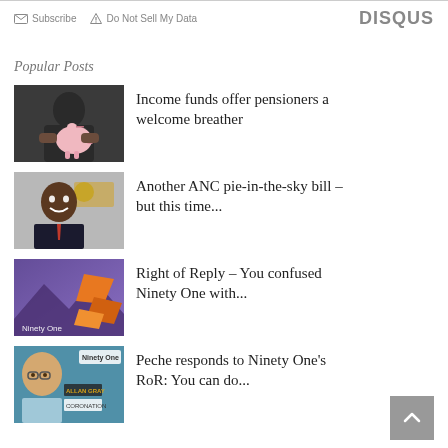Subscribe  Do Not Sell My Data  DISQUS
Popular Posts
[Figure (photo): Person holding a pink piggy bank, dark background]
Income funds offer pensioners a welcome breather
[Figure (photo): Smiling man in suit at an event with logos in background]
Another ANC pie-in-the-sky bill – but this time...
[Figure (photo): Ninety One branded graphic with orange geometric shapes on purple background]
Right of Reply – You confused Ninety One with...
[Figure (photo): Man with glasses in front of Ninety One, Allan Gray, Coronation logos]
Peche responds to Ninety One's RoR: You can do...